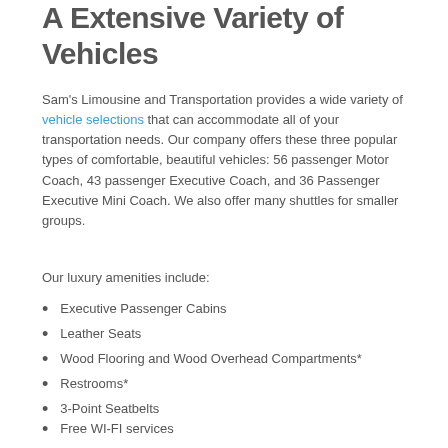A Extensive Variety of Vehicles
Sam's Limousine and Transportation provides a wide variety of vehicle selections that can accommodate all of your transportation needs. Our company offers these three popular types of comfortable, beautiful vehicles: 56 passenger Motor Coach, 43 passenger Executive Coach, and 36 Passenger Executive Mini Coach. We also offer many shuttles for smaller groups.
Our luxury amenities include:
Executive Passenger Cabins
Leather Seats
Wood Flooring and Wood Overhead Compartments*
Restrooms*
3-Point Seatbelts
Free WI-FI services
Premium surround sound systems that include